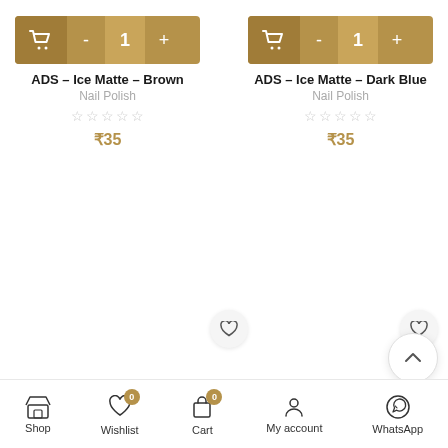[Figure (screenshot): Product listing card for ADS – Ice Matte – Brown nail polish with add-to-cart bar showing quantity 1, product name, category, star rating, and price ₹35]
[Figure (screenshot): Product listing card for ADS – Ice Matte – Dark Blue nail polish with add-to-cart bar showing quantity 1, product name, category, star rating, and price ₹35]
Shop  Wishlist 0  Cart 0  My account  WhatsApp